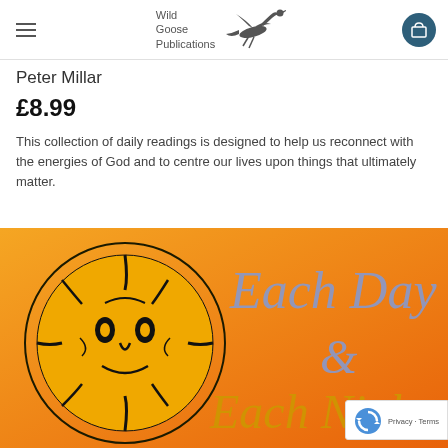Wild Goose Publications
Peter Millar
£8.99
This collection of daily readings is designed to help us reconnect with the energies of God and to centre our lives upon things that ultimately matter.
[Figure (photo): Book cover for 'Each Day & Each Night' by Peter Millar, published by Wild Goose Publications. Orange/amber background with a black sun-face woodcut illustration on the left, and large grey calligraphic text reading 'Each Day & Each Night' on the right.]